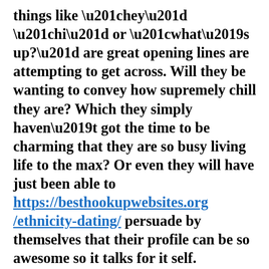things like “hey” “hi” or “what’s up?” are great opening lines are attempting to get across. Will they be wanting to convey how supremely chill they are? Which they simply haven’t got the time to be charming that they are so busy living life to the max? Or even they will have just been able to https://besthookupwebsites.org/ethnicity-dating/ persuade by themselves that their profile can be so awesome so it talks for it self.